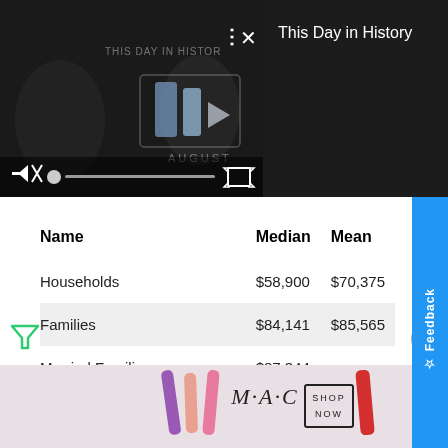[Figure (screenshot): Video player showing 'This Day in History' with play controls, mute button, progress bar, and fullscreen button on dark background]
This Day in History
| Name | Median | Mean |
| --- | --- | --- |
| Households | $58,900 | $70,375 |
| Families | $84,141 | $85,565 |
| Married Families | $87,344 | - |
| Non Families | $42,019 | $49,809 |
[Figure (photo): Advertisement banner showing MAC cosmetics lipsticks with SHOP NOW button]